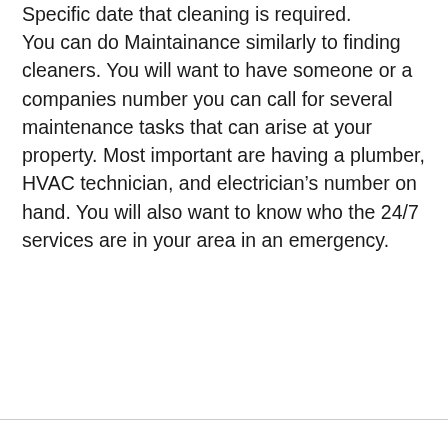Specific date that cleaning is required.
You can do Maintainance similarly to finding cleaners. You will want to have someone or a companies number you can call for several maintenance tasks that can arise at your property. Most important are having a plumber, HVAC technician, and electrician’s number on hand. You will also want to know who the 24/7 services are in your area in an emergency.